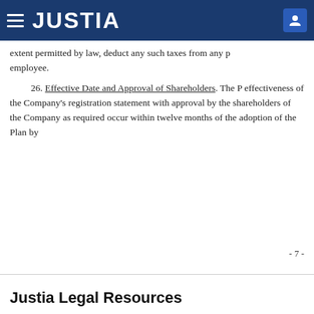JUSTIA
extent permitted by law, deduct any such taxes from any p employee.
26. Effective Date and Approval of Shareholders. The P effectiveness of the Company's registration statement with approval by the shareholders of the Company as required occur within twelve months of the adoption of the Plan by
- 7 -
Justia Legal Resources